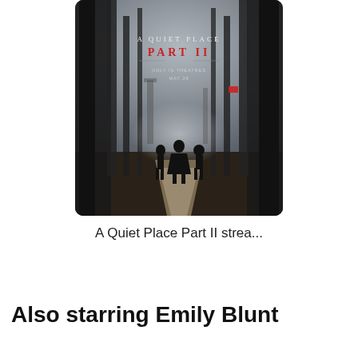[Figure (photo): Movie poster for A Quiet Place Part II showing three silhouetted figures walking down a misty dirt path flanked by bare trees, with the text 'A QUIET PLACE PART II ONLY IN THEATRES MAY 28' on a dark atmospheric background]
A Quiet Place Part II strea...
Also starring Emily Blunt